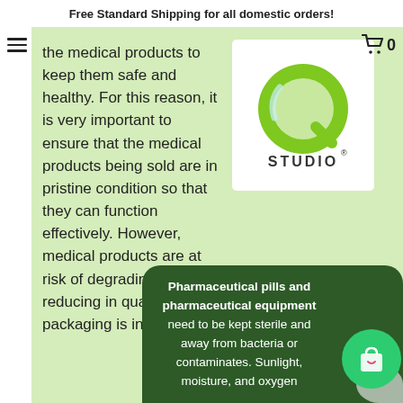Free Standard Shipping for all domestic orders!
the medical products to keep them safe and healthy. For this reason, it is very important to ensure that the medical products being sold are in pristine condition so that they can function effectively. However, medical products are at risk of degrading and reducing in quality if their packaging is ineffective.
[Figure (logo): Q Studio logo - green Q with STUDIO text below on white background]
Pharmaceutical pills and pharmaceutical equipment need to be kept sterile and away from bacteria or contaminates. Sunlight, moisture, and oxygen